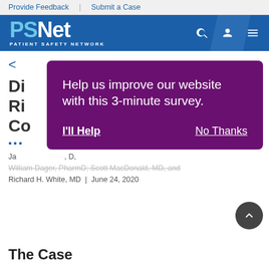Provide Feedback | Submit a Case
[Figure (logo): PSNet Patient Safety Network logo with blue header bar and navigation icons (search, user, menu)]
<
Di... Ri... Co...
...
James ... D, William Dager, PharmD; Scott MacDonald, MD, and Richard H. White, MD | June 24, 2020
[Figure (screenshot): Purple modal overlay with text: 'Help us improve our website with this 3-minute survey.' and two buttons: 'I'll Help' and 'No Thanks']
The Case
...